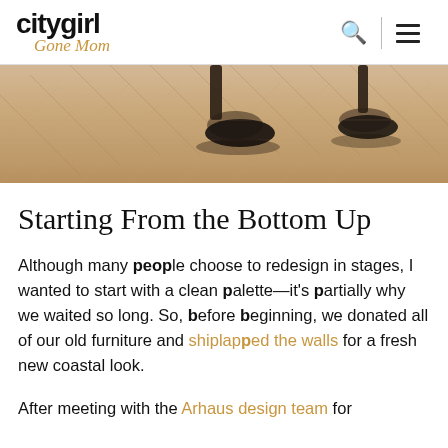city girl Gone Mom
[Figure (photo): Close-up photo of a person's feet wearing black high heels standing on light wood herringbone flooring]
Starting From the Bottom Up
Although many people choose to redesign in stages, I wanted to start with a clean palette—it's partially why we waited so long. So, before beginning, we donated all of our old furniture and shiplapped the walls for a fresh new coastal look.
After meeting with the Arhaus design team for